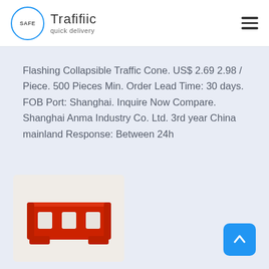SAFE Traffic quick delivery
Flashing Collapsible Traffic Cone. US$ 2.69 2.98 / Piece. 500 Pieces Min. Order Lead Time: 30 days. FOB Port: Shanghai. Inquire Now Compare. Shanghai Anma Industry Co. Ltd. 3rd year China mainland Response: Between 24h
[Figure (photo): Red plastic traffic barrier/road block product image]